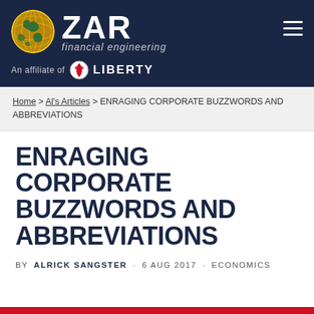[Figure (logo): ZAR Financial Engineering logo with globe and 'An affiliate of LIBERTY' text in dark navy header bar]
Home > Al's Articles > ENRAGING CORPORATE BUZZWORDS AND ABBREVIATIONS
ENRAGING CORPORATE BUZZWORDS AND ABBREVIATIONS
BY ALRICK SANGSTER · 6 AUG 2017 · ECONOMICS